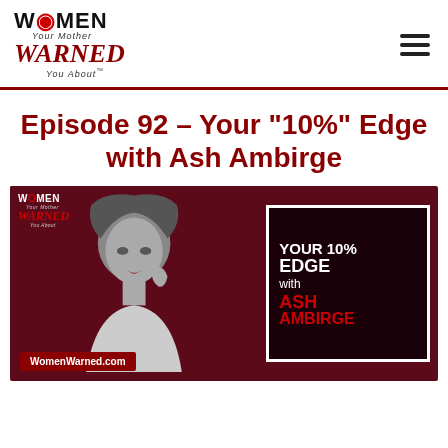[Figure (logo): Women Your Mother Warned You About podcast logo with red lips icon]
Episode 92 – Your “10%” Edge with Ash Ambirge
[Figure (illustration): Podcast episode thumbnail showing a woman in dark red background on the left and text box on the right reading YOUR 10% EDGE with ASH AMBIRGE, with WomenWarned.com URL banner and Women Your Mother Warned You About logo in corner]